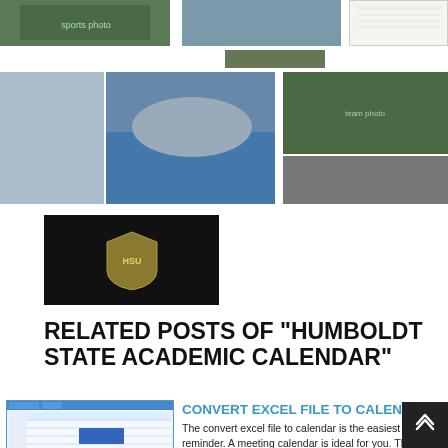[Figure (photo): Sports team photo (green jerseys), partial view at top]
[Figure (photo): Outdoor/landscape photo, partial]
[Figure (photo): Table/document screenshot thumbnail]
[Figure (photo): Narrow dark strip photo]
[Figure (photo): Small group of people in green/yellow uniforms outdoors]
[Figure (photo): Team photo outdoors, large group in green]
[Figure (photo): Partial image strip at bottom right]
[Figure (photo): Dark logo image with gold shield emblem on black background]
RELATED POSTS OF "HUMBOLDT STATE ACADEMIC CALENDAR"
[Figure (screenshot): Screenshot of Excel/calendar software with blue highlighted cells]
CONVERT EXCEL FILE TO CALENDAR
The convert excel file to calendar is the easiest reminder. A meeting calendar is ideal for you. The